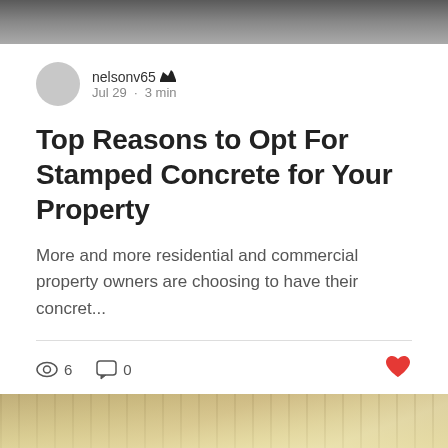[Figure (photo): Top portion of an outdoor image, dark textured surface, cropped banner]
nelsonv65 👑
Jul 29 · 3 min
Top Reasons to Opt For Stamped Concrete for Your Property
More and more residential and commercial property owners are choosing to have their concret...
👁 6   💬 0   ❤️
[Figure (photo): Bottom image showing a thatched/reed roof structure with a chat bubble button overlay]